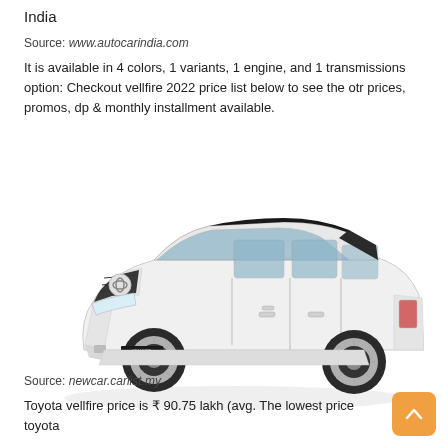India
Source: www.autocarindia.com
It is available in 4 colors, 1 variants, 1 engine, and 1 transmissions option: Checkout vellfire 2022 price list below to see the otr prices, promos, dp & monthly installment available.
[Figure (photo): White Toyota Vellfire luxury minivan, three-quarter front view on white background]
Source: newcar.carlist.my
Toyota vellfire price is ₹ 90.75 lakh (avg. The lowest price toyota